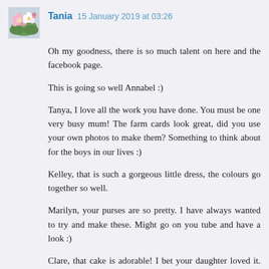[Figure (photo): Small square avatar image showing pink and white flowers]
Tania  15 January 2019 at 03:26
Oh my goodness, there is so much talent on here and the facebook page.
This is going so well Annabel :)
Tanya, I love all the work you have done. You must be one very busy mum! The farm cards look great, did you use your own photos to make them? Something to think about for the boys in our lives :)
Kelley, that is such a gorgeous little dress, the colours go together so well.
Marilyn, your purses are so pretty. I have always wanted to try and make these. Might go on you tube and have a look :)
Clare, that cake is adorable! I bet your daughter loved it. Fantastic job by you and your sister!
Cookie, very clever card making, they look great!